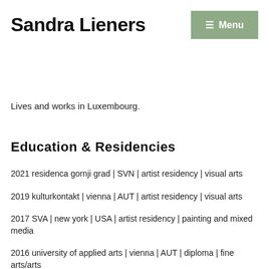Sandra Lieners
[Figure (other): Menu button with hamburger icon on green background]
Lives and works in Luxembourg.
Education & Residencies
2021 residenca gornji grad | SVN | artist residency | visual arts
2019 kulturkontakt | vienna | AUT | artist residency | visual arts
2017 SVA | new york | USA | artist residency | painting and mixed media
2016 university of applied arts | vienna | AUT | diploma | fine arts/arts and communication practices | with honors